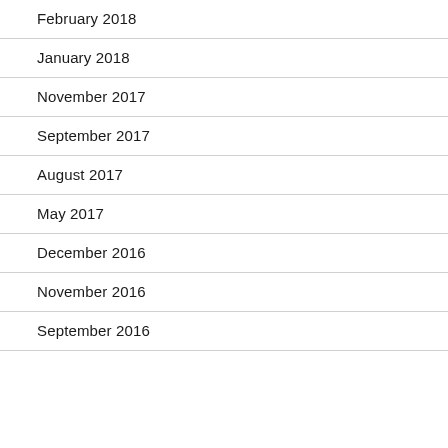February 2018
January 2018
November 2017
September 2017
August 2017
May 2017
December 2016
November 2016
September 2016